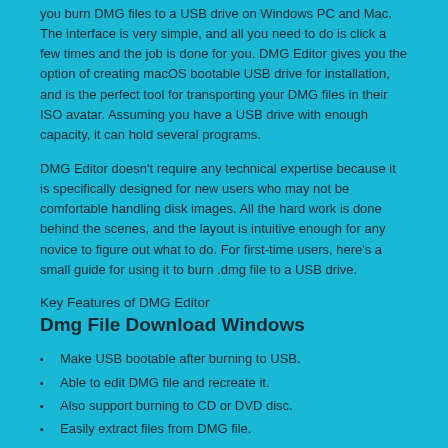you burn DMG files to a USB drive on Windows PC and Mac. The interface is very simple, and all you need to do is click a few times and the job is done for you. DMG Editor gives you the option of creating macOS bootable USB drive for installation, and is the perfect tool for transporting your DMG files in their ISO avatar. Assuming you have a USB drive with enough capacity, it can hold several programs.
DMG Editor doesn't require any technical expertise because it is specifically designed for new users who may not be comfortable handling disk images. All the hard work is done behind the scenes, and the layout is intuitive enough for any novice to figure out what to do. For first-time users, here's a small guide for using it to burn .dmg file to a USB drive.
Key Features of DMG Editor
Dmg File Download Windows
Make USB bootable after burning to USB.
Able to edit DMG file and recreate it.
Also support burning to CD or DVD disc.
Easily extract files from DMG file.